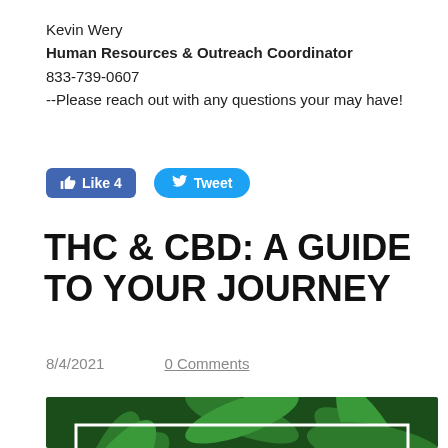Kevin Wery
Human Resources & Outreach Coordinator
833-739-0607
--Please reach out with any questions your may have!
[Figure (screenshot): Facebook Like button showing 'Like 4' and Twitter Tweet button, rendered as blue UI buttons]
THC & CBD: A GUIDE TO YOUR JOURNEY
8/4/2021    0 Comments
[Figure (illustration): Marijuana frequently asked questions graphic — green cannabis leaves background with white bordered rectangle containing the text MARIJUANA FREQUENTLY in large green letters]